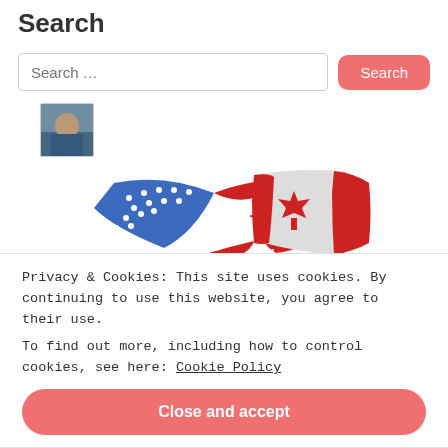Search
Search …
[Figure (photo): Small avatar photo of a person in a vehicle]
[Figure (logo): North American logo with US and Canadian flags waving together, red text 'NORTH AMERICAN' below]
Privacy & Cookies: This site uses cookies. By continuing to use this website, you agree to their use.
To find out more, including how to control cookies, see here: Cookie Policy
Close and accept